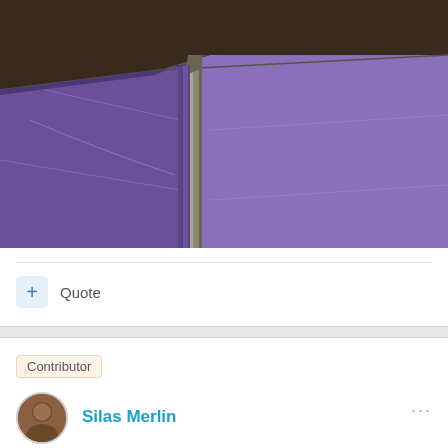[Figure (screenshot): 3D rendering of a purple architectural corner/column detail with a dark brown roof or overhang. The scene shows a structural column meeting a ceiling, rendered in a CAD or 3D modeling software with purple walls and metallic column elements.]
+ Quote
Contributor
Silas Merlin